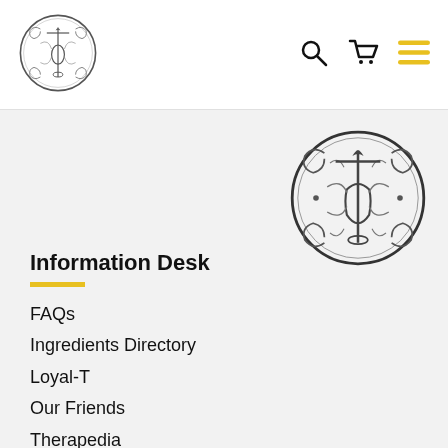[Figure (logo): Circular ornamental logo with decorative scroll work and a central torch/lamp symbol — small, in header top-left]
[Figure (illustration): Search icon (magnifying glass) in header top-right navigation]
[Figure (illustration): Shopping cart icon in header top-right navigation]
[Figure (illustration): Hamburger menu icon (three yellow horizontal lines) in header top-right navigation]
[Figure (logo): Larger circular ornamental logo with decorative scroll work and a central torch/lamp symbol in the grey content area, positioned upper right]
Information Desk
FAQs
Ingredients Directory
Loyal-T
Our Friends
Therapedia
Events
The Office